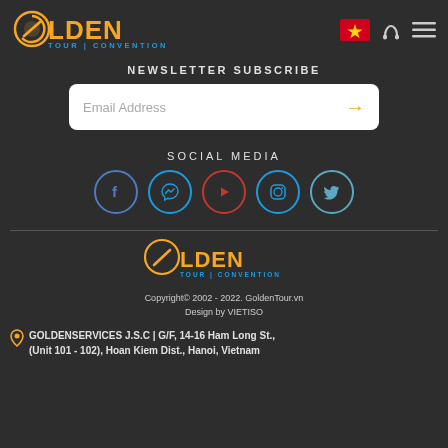[Figure (logo): Golden Tour Convention logo with orange text and blue subtitle, Vietnamese flag, phone icon, and hamburger menu on dark header]
NEWSLETTER SUBSCRIBE
[Figure (screenshot): Email address input box with placeholder text 'Email Address' and orange arrow submit button]
SOCIAL MEDIA
[Figure (infographic): Five social media icon circles: Facebook, Messenger, YouTube, Instagram, Twitter]
[Figure (logo): Golden Tour Convention footer logo]
Copyright© 2002 - 2022. GoldenTour.vn
Design by VIETISO
GOLDENSERVICES J.S.C | G/F, 14-16 Ham Long St., (Unit 101 - 102), Hoan Kiem Dist., Hanoi, Vietnam